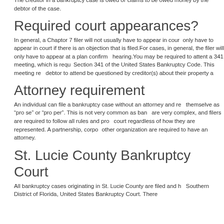The creditor in a bankruptcy case is owed or claims to be owed money by the debtor of the case.
Required court appearances?
In general, a Chaptor 7 filer will not usually have to appear in court. They only have to appear in court if there is an objection that is filed.For other cases, in general, the filer will only have to appear at a plan confirmation hearing.You may be required to attent a 341 meeting, which is required by Section 341 of the United States Bankruptcy Code. This meeting requires the debtor to attend be questioned by creditor(s) about their property a...
Attorney requirement
An individual can file a bankruptcy case without an attorney and represent themselve as "pro se" or "pro per". This is not very common as bankruptcy cases are very complex, and filers are required to follow all rules and procedures of court regardless of how they are represented. A partnership, corporation, or other organization are required to have an attorney.
St. Lucie County Bankruptcy Court
All bankruptcy cases originating in St. Lucie County are filed and h... Southern District of Florida, United States Bankruptcy Court. There...